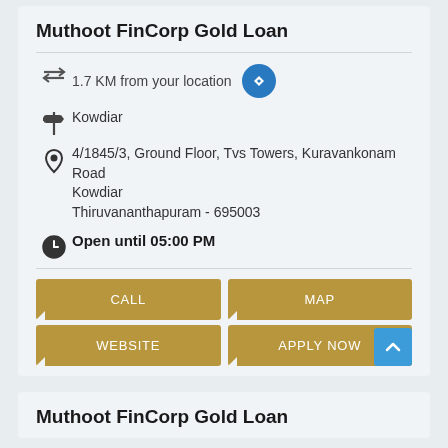Muthoot FinCorp Gold Loan
1.7 KM from your location
Kowdiar
4/1845/3, Ground Floor, Tvs Towers, Kuravankonam Road
Kowdiar
Thiruvananthapuram - 695003
Open until 05:00 PM
CALL
MAP
WEBSITE
APPLY NOW
Muthoot FinCorp Gold Loan